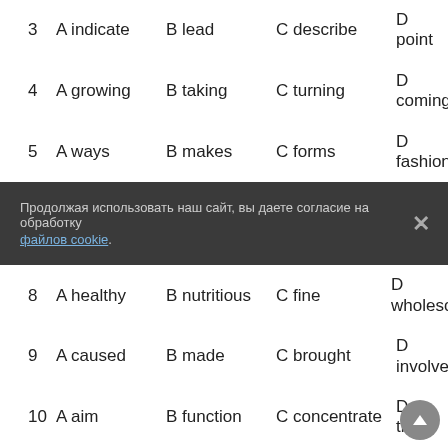3 A indicate   B lead   C describe   D point
4 A growing   B taking   C turning   D coming
5 A ways   B makes   C forms   D fashions
Продолжая использовать наш сайт, вы даете согласие на обработку файлов cookie.
8 A healthy   B nutritious   C fine   D wholesome
9 A caused   B made   C brought   D involved
10 A aim   B function   C concentrate   D try
11 A game   B piece   C part   D action
12 A reject   B dislike   C object   D disagree
13 A normal   B typical   C common   D general